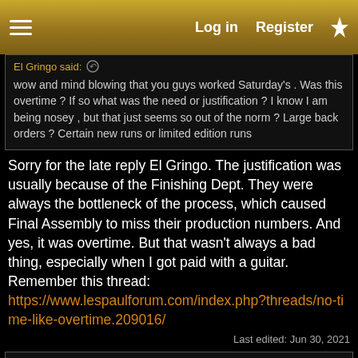Log in  Register
El Gringo said:
wow and mind blowing that you guys worked Saturday's . Was this overtime ? If so what was the need or justification ? I know I am being nosey , but that just seems so out of the norm ? Large back orders ? Certain new runs or limited edition runs
Sorry for the late reply El Gringo. The justification was usually because of the Finishing Dept. They were always the bottleneck of the process, which caused Final Assembly to miss their production numbers. And yes, it was overtime. But that wasn't always a bad thing, especially when I got paid with a guitar. Remember this thread:
https://www.lespaulforum.com/index.php?threads/no-time-like-overtime.209016/
Last edited: Jun 30, 2021
El Gringo
Prev  1  …  23  27  Next